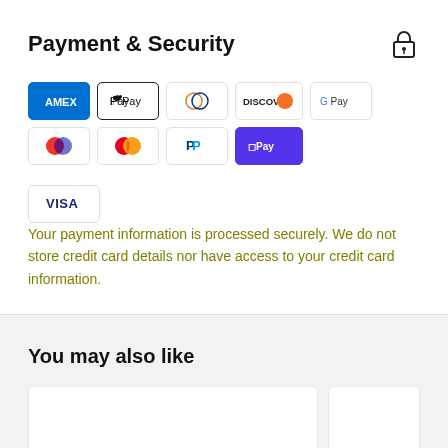Payment & Security
[Figure (infographic): Row of payment method icons: American Express, Apple Pay, Diners Club, Discover, Google Pay, Maestro, Mastercard, PayPal, Shop Pay, Visa]
Your payment information is processed securely. We do not store credit card details nor have access to your credit card information.
You may also like